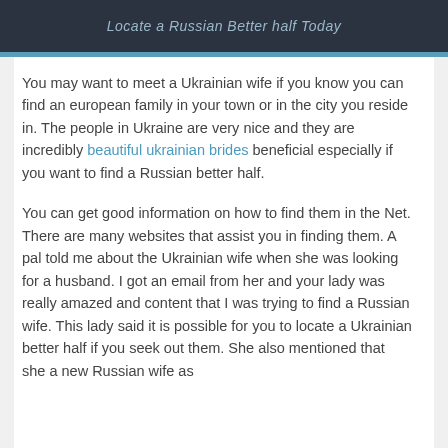Locate a Russian Better half Today
You may want to meet a Ukrainian wife if you know you can find an european family in your town or in the city you reside in. The people in Ukraine are very nice and they are incredibly beautiful ukrainian brides beneficial especially if you want to find a Russian better half.
You can get good information on how to find them in the Net. There are many websites that assist you in finding them. A pal told me about the Ukrainian wife when she was looking for a husband. I got an email from her and your lady was really amazed and content that I was trying to find a Russian wife. This lady said it is possible for you to locate a Ukrainian better half if you seek out them. She also mentioned that she a new Russian wife as